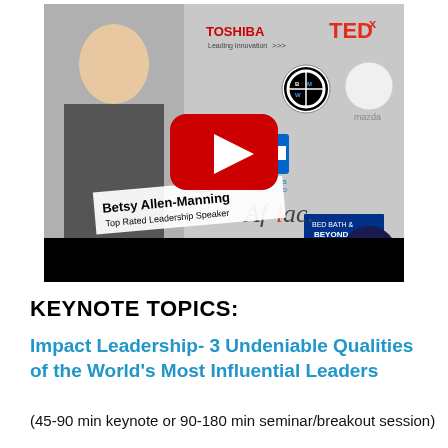[Figure (screenshot): Video thumbnail showing Betsy Allen-Manning, Top Rated Leadership Speaker, with logos including Toshiba, TEDx, BMW, Mazda, US Department of Homeland Security, Blue Cross Blue Shield, Bed Bath & Beyond, Missile Defense Agency, Aflac, Wells Fargo, and a YouTube play button overlay. A black bar is at the bottom of the thumbnail.]
KEYNOTE TOPICS:
Impact Leadership- 3 Undeniable Qualities of the World's Most Influential Leaders
(45-90 min keynote or 90-180 min seminar/breakout session)